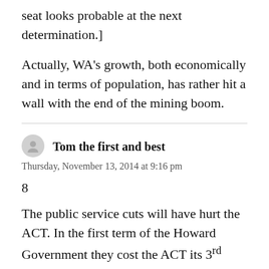seat looks probable at the next determination.]
Actually, WA's growth, both economically and in terms of population, has rather hit a wall with the end of the mining boom.
Tom the first and best
Thursday, November 13, 2014 at 9:16 pm
8
The public service cuts will have hurt the ACT. In the first term of the Howard Government they cost the ACT its 3rd seat. Maybe next time there will be enough people in the ACT to allow